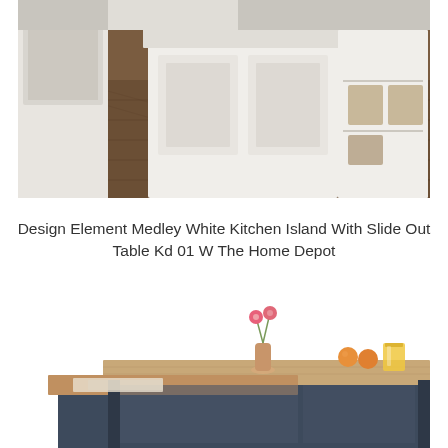[Figure (photo): White kitchen island with shelving unit on dark wood floor, with white cabinetry visible in background]
Design Element Medley White Kitchen Island With Slide Out Table Kd 01 W The Home Depot
[Figure (photo): Kitchen island with slide-out table in dark gray/navy frame and wood top, with a flower vase, oranges, and a glass of juice on top]